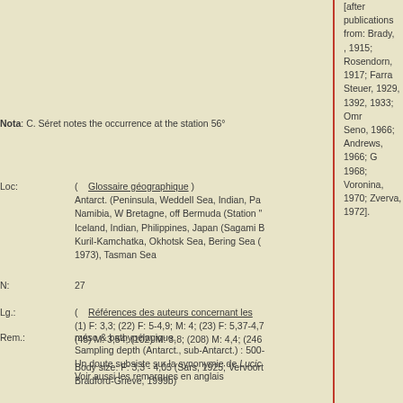[after publications from: Brady, , 1915; Rosendorn, 1917; Farra Steuer, 1929, 1392, 1933; Omr Seno, 1966; Andrews, 1966; G 1968; Voronina, 1970; Zverva, 1972].
Nota: C. Séret notes the occurrence at the station 56°
Loc: ( Glossaire géographique ) Antarct. (Peninsula, Weddell Sea, Indian, Pa Namibia, W Bretagne, off Bermuda (Station Iceland, Indian, Philippines, Japan (Sagami B Kuril-Kamchatka, Okhotsk Sea, Bering Sea ( 1973), Tasman Sea
N: 27
Lg.: ( Références des auteurs concernant les (1) F: 3,3; (22) F: 5-4,9; M: 4; (23) F: 5,37-4,7 (45) M: 3,54; (102) M: 3,8; (208) M: 4,4; (246 Body size: F: 3,3 - 4,05 (Sars, 1925; Vervoort Bradford-Grieve, 1999b) Body size: F: 4,70 - 5,00 (Brodsky, 1950; Hep
Rem.: méso & bathypélagique. Sampling depth (Antarct., sub-Antarct.) : 500- Un doute subsiste sur la synonymie de Lucic Voir aussi les remarques en anglais